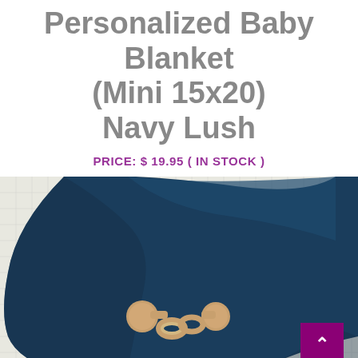Personalized Baby Blanket (Mini 15x20) Navy Lush
PRICE: $ 19.95 ( IN STOCK )
[Figure (photo): Photo of a folded navy blue velvet baby blanket laid on a white grid-pattern surface, with a wooden teething ring toy and a small tan teddy bear placed on top. A purple scroll-to-top button with an upward chevron arrow is overlaid in the bottom right of the image.]